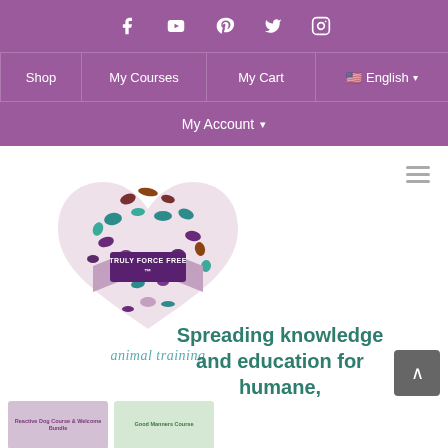Social media icons: Facebook, YouTube, Pinterest, Twitter, Instagram
Shop | My Courses | My Cart | English
My Account
[Figure (logo): Truly Force Free animal training logo — heart shape made of colorful animal silhouettes with a ribbon banner reading TRULY FORCE FREE™ and text 'animal training' below]
Spreading knowledge and education for humane,